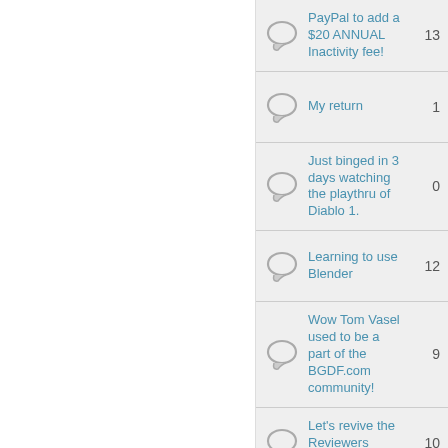PayPal to add a $20 ANNUAL Inactivity fee!
My return
Just binged in 3 days watching the playthru of Diablo 1.
Learning to use Blender
Wow Tom Vasel used to be a part of the BGDF.com community!
Let's revive the Reviewers Section...